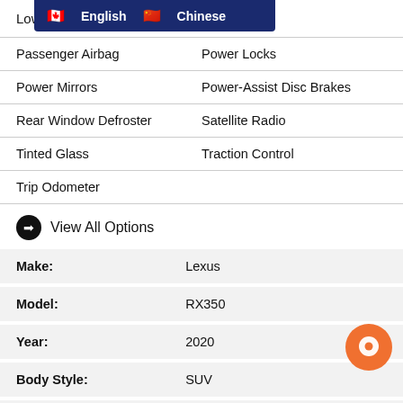Low   |   Memory Seat
[Figure (other): Language selection bar with Canadian and Chinese flags showing English and Chinese options]
Passenger Airbag   |   Power Locks
Power Mirrors   |   Power-Assist Disc Brakes
Rear Window Defroster   |   Satellite Radio
Tinted Glass   |   Traction Control
Trip Odometer
➔  View All Options
| Field | Value |
| --- | --- |
| Make: | Lexus |
| Model: | RX350 |
| Year: | 2020 |
| Body Style: | SUV |
| Odometer: | 15,000 Km |
| Transmission: | 8 Speed Automatic |